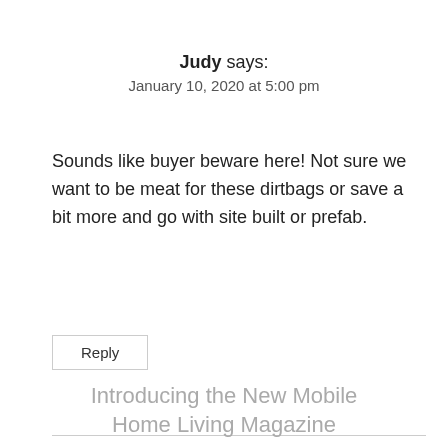Judy says:
January 10, 2020 at 5:00 pm
Sounds like buyer beware here! Not sure we want to be meat for these dirtbags or save a bit more and go with site built or prefab.
Reply
Introducing the New Mobile Home Living Magazine